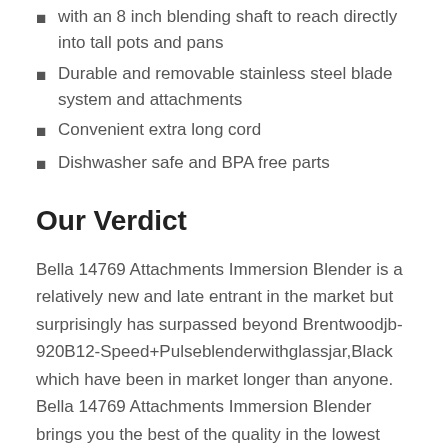with an 8 inch blending shaft to reach directly into tall pots and pans
Durable and removable stainless steel blade system and attachments
Convenient extra long cord
Dishwasher safe and BPA free parts
Our Verdict
Bella 14769 Attachments Immersion Blender is a relatively new and late entrant in the market but surprisingly has surpassed beyond Brentwoodjb-920B12-Speed+Pulseblenderwithglassjar,Black which have been in market longer than anyone. Bella 14769 Attachments Immersion Blender brings you the best of the quality in the lowest possible cost. The Best feature of Bella 14769 Attachments Immersion Blender is what has kept in the market.